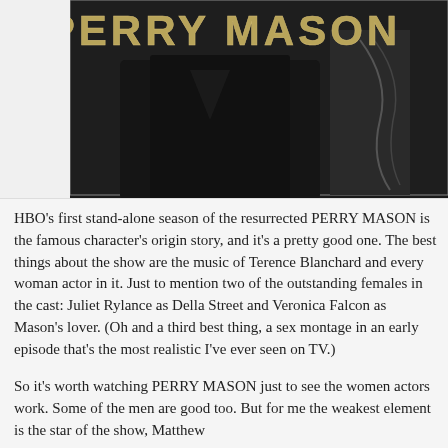[Figure (screenshot): Dark promotional image for Perry Mason HBO show. Gold serif text 'PERRY MASON' at top against a dark background. A figure in dark clothing is partially visible below the text.]
HBO's first stand-alone season of the resurrected PERRY MASON is the famous character's origin story, and it's a pretty good one. The best things about the show are the music of Terence Blanchard and every woman actor in it. Just to mention two of the outstanding females in the cast: Juliet Rylance as Della Street and Veronica Falcon as Mason's lover. (Oh and a third best thing, a sex montage in an early episode that's the most realistic I've ever seen on TV.)
So it's worth watching PERRY MASON just to see the women actors work. Some of the men are good too. But for me the weakest element is the star of the show, Matthew